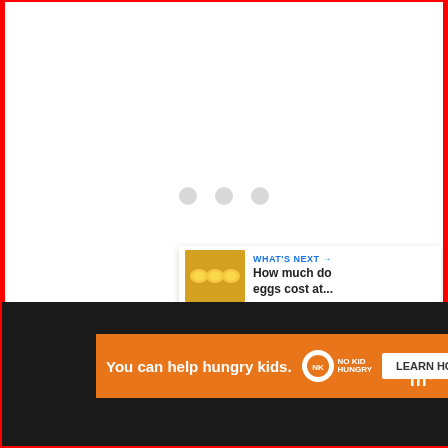[Figure (screenshot): Loading spinner with three grey dots in the center of a white content area]
[Figure (screenshot): Blue circular like/heart button on the right side]
[Figure (screenshot): White circular share button with share icon on the right side]
[Figure (screenshot): What's Next card showing thumbnail of food and text 'How much do eggs cost at...']
WHAT'S NEXT → How much do eggs cost at...
[Figure (screenshot): Advertisement banner: 'You can help hungry kids.' with No Kid Hungry logo and Learn How button on orange background, overlaid on dark bottom bar]